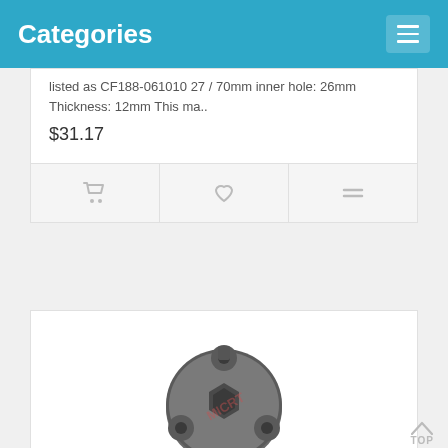Categories
listed as CF188-061010 27 / 70mm inner hole: 26mm Thickness: 12mm This ma..
$31.17
[Figure (illustration): Sliding Bush Gearshift part photo - a circular metal part with hex center hole]
Sliding Bush, Gearshift
MICF0180-061006
CF Moto listed part number is 0180-061006, with old part number listed as CF188-061006 6T This may fits ENGINE  2011  196S-B(U6) ..
$14.04